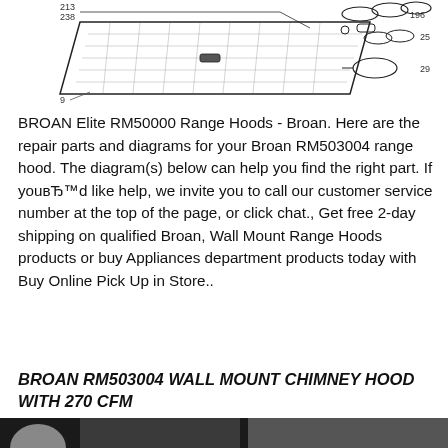[Figure (engineering-diagram): Exploded parts diagram for Broan RM50000 range hood showing a grille/filter component (item 9) on the left with part numbers 213/238, and several small hardware pieces (items 196, 25, 29) on the right.]
BROAN Elite RM50000 Range Hoods - Broan. Here are the repair parts and diagrams for your Broan RM503004 range hood. The diagram(s) below can help you find the right part. If youвЂ™d like help, we invite you to call our customer service number at the top of the page, or click chat., Get free 2-day shipping on qualified Broan, Wall Mount Range Hoods products or buy Appliances department products today with Buy Online Pick Up in Store..
BROAN RM503004 WALL MOUNT CHIMNEY HOOD WITH 270 CFM
[Figure (photo): Partial photograph of the Broan RM503004 wall mount chimney hood, cropped at the bottom of the page.]